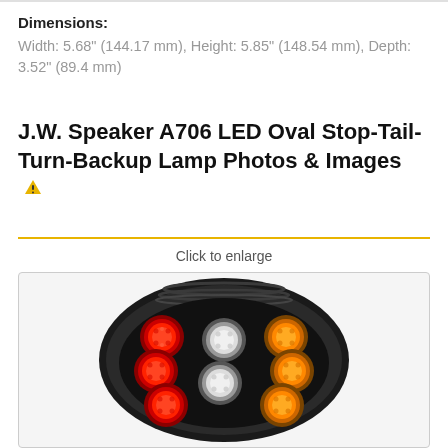Dimensions:
Width: 5.68" (144.17 mm), Height: 5.85" (148.54 mm), Depth: 3.52" (89.4 mm)
J.W. Speaker A706 LED Oval Stop-Tail-Turn-Backup Lamp Photos & Images
Click to enlarge
[Figure (photo): J.W. Speaker A706 LED Oval Stop-Tail-Turn-Backup Lamp showing red, white, and amber LED clusters on an oval black housing with rubber gasket]